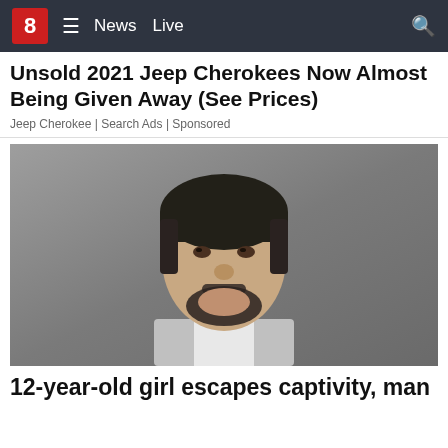8 News Live
Unsold 2021 Jeep Cherokees Now Almost Being Given Away (See Prices)
Jeep Cherokee | Search Ads | Sponsored
[Figure (photo): Mugshot of a middle-aged Hispanic man with short dark hair, beard, and goatee, wearing a gray and white shirt, against a gray background]
12-year-old girl escapes captivity, man arrested after luring a young girl